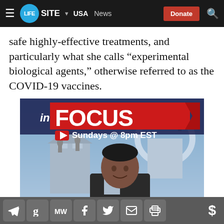LifeSite — USA News — Donate
safe highly-effective treatments, and particularly what she calls “experimental biological agents,” otherwise referred to as the COVID-19 vaccines.
[Figure (photo): In Focus show promotional image: man in front of St. Peter's Basilica with text 'inFOCUS Sundays @ 8pm EST' and LifeSite logo]
Social sharing icons: Telegram, Gab, MeWe, Facebook, Twitter, Email, Print, Dollar sign donation